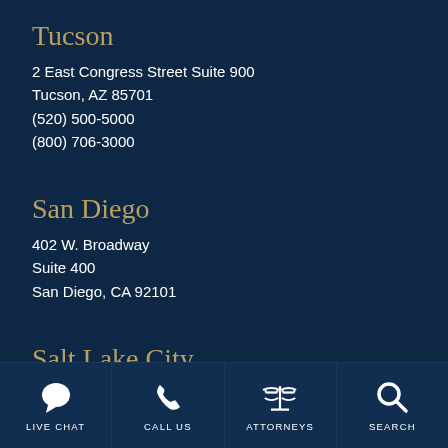Tucson
2 East Congress Street Suite 900
Tucson, AZ 85701
(520) 500-5000
(800) 706-3000
San Diego
402 W. Broadway
Suite 400
San Diego, CA 92101
Salt Lake City
4001 South 700 East
Salt Lake City, UT 84107
(801) 583-8888
[Figure (infographic): Bottom navigation bar with four icons: Live Chat (speech bubble), Call Us (phone), Attorneys (scales of justice), Search (magnifying glass)]